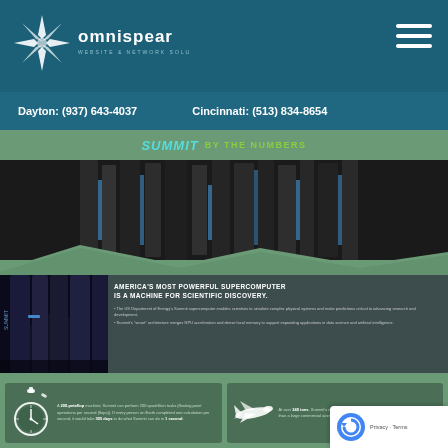OMNISPEAR - Website & Network Solutions
Dayton: (937) 643-4037    Cincinnati: (513) 834-8654
[Figure (screenshot): Summit supercomputer infographic screenshot showing 'Summit By The Numbers' banner, photo of supercomputer hardware, description text about America's most powerful supercomputer, and statistics about 200-petaflop performance with stopwatch and airplane icons]
AMERICA'S MOST POWERFUL SUPERCOMPUTER IS A MACHINE FOR SCIENTIFIC DISCOVERY.
The US Department of Energy's Summit supercomputer enables scientists to simulate complex physical systems and make predictions critical to advancing research and development.
Summit's 'smart' architecture merges GPU acceleration and dense local memory to support expanding applications in data science and artificial intelligence.
A 200-petaflop machine, Summit can perform 200 quadrillion tasks (floating point operations per second (flops)). If every person on Earth completed one calculation per second, it would take 305 days to do what Summit can do in 1 second.
At over 340 tons, Summit's cabinets, cooling system, and overhead structure weigh more than a large commercial aircraft.